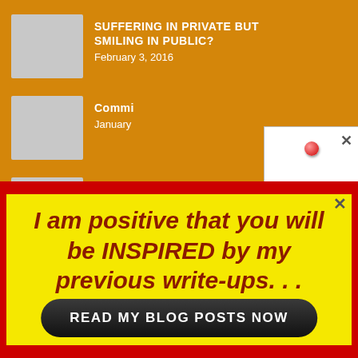SUFFERING IN PRIVATE BUT SMILING IN PUBLIC?
February 3, 2016
Commi...
January ...
Who D...
February...
[Figure (illustration): Popup overlay showing two book covers: 'Love Like No Other' (red cover with large italic text) and a second book with silhouette of family, with a red pin/tack above]
I am positive that you will be INSPIRED by my previous write-ups. . .
READ MY BLOG POSTS NOW